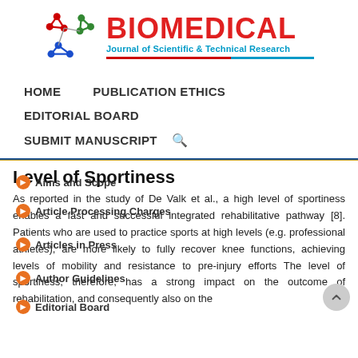[Figure (logo): Biomedical Journal of Scientific & Technical Research logo with molecular network graphic in red, green and blue, and red BIOMEDICAL text with cyan subtitle]
HOME    PUBLICATION ETHICS
EDITORIAL BOARD
SUBMIT MANUSCRIPT
Level of Sportiness
As reported in the study of De Valk et al., a high level of sportiness enables a fast and successful integrated rehabilitative pathway [8]. Patients who are used to practice sports at high levels (e.g. professional athletes), are more likely to fully recover knee functions, achieving levels of mobility and resistance to pre-injury efforts The level of sportiness, therefore, has a strong impact on the outcome of rehabilitation, and consequently also on the